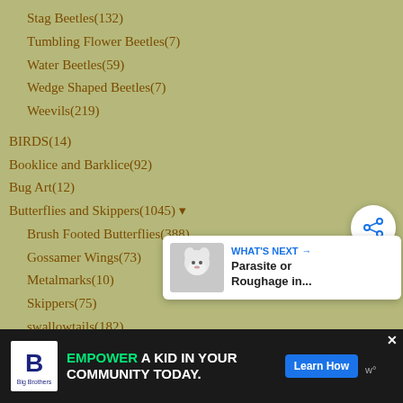Stag Beetles(132)
Tumbling Flower Beetles(7)
Water Beetles(59)
Wedge Shaped Beetles(7)
Weevils(219)
BIRDS(14)
Booklice and Barklice(92)
Bug Art(12)
Butterflies and Skippers(1045) ▾
Brush Footed Butterflies(388)
Gossamer Wings(73)
Metalmarks(10)
Skippers(75)
swallowtails(182)
Whites and Sulfurs(60)
Caddisflies(52)
Caterpillars and Pupa(2728) ▾
butterfly caterpillars(565) ▾
[Figure (other): Share button icon (circular button with share/network icon)]
[Figure (other): What's Next card: small thumbnail image of a white fluffy creature, label 'WHAT'S NEXT →', title 'Parasite or Roughage in...']
[Figure (other): Advertisement banner: Big Brothers Big Sisters logo, text 'EMPOWER A KID IN YOUR COMMUNITY TODAY.' with Learn How button and weather icon]